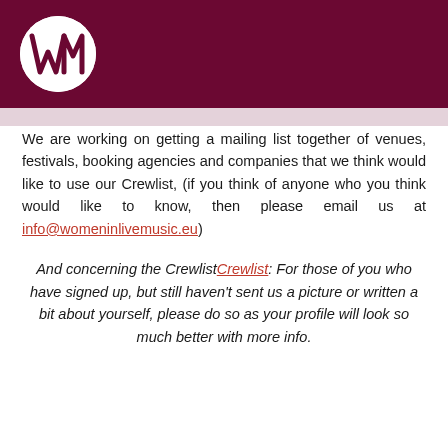[Figure (logo): Women in Live Music logo - white WM letters in circle on dark red/maroon background header bar]
We are working on getting a mailing list together of venues, festivals, booking agencies and companies that we think would like to use our Crewlist, (if you think of anyone who you think would like to know, then please email us at info@womeninlivemusic.eu)
And concerning the CrewlistCrewlist: For those of you who have signed up, but still haven't sent us a picture or written a bit about yourself, please do so as your profile will look so much better with more info.